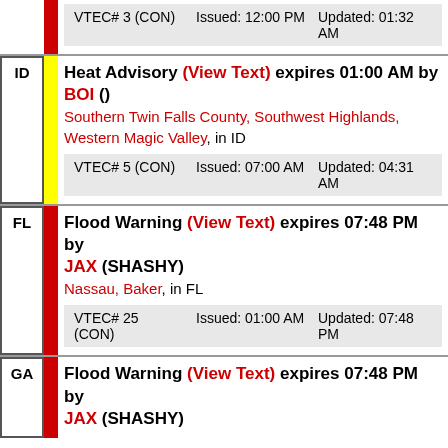| VTEC | Issued | Updated |
| --- | --- | --- |
| VTEC# 3 (CON) | Issued: 12:00 PM | Updated: 01:32 AM |
ID | Heat Advisory (View Text) expires 01:00 AM by BOI () Southern Twin Falls County, Southwest Highlands, Western Magic Valley, in ID VTEC# 5 (CON) Issued: 07:00 AM Updated: 04:31 AM
FL | Flood Warning (View Text) expires 07:48 PM by JAX (SHASHY) Nassau, Baker, in FL VTEC# 25 (CON) Issued: 01:00 AM Updated: 07:48 PM
GA | Flood Warning (View Text) expires 07:48 PM by JAX (SHASHY)